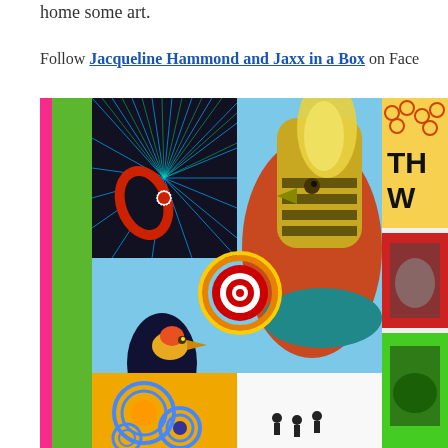home some art.
Follow Jacqueline Hammond and Jaxx in a Box on Fac...
[Figure (photo): Colorful artwork collage showing paintings of birds — a large golden pheasant and smaller black bird on a sky-blue background — with abstract art panels including a daisy/flower psychedelic piece and concentric circle targets. Pink and green vertical sidebar strips on the left. Additional artwork panels partially visible on the right edge.]